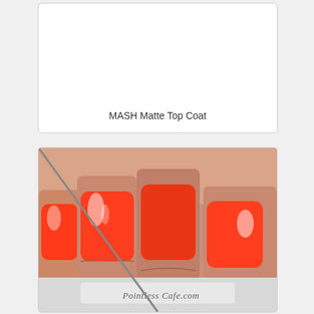[Figure (other): White card/box area with product label text 'MASH Matte Top Coat' at bottom center]
MASH Matte Top Coat
[Figure (photo): Close-up photo of fingers with bright red/orange nail polish. Some nails appear glossy and one appears matte. Watermark reads 'PointlessCafe.com' in script font at bottom center.]